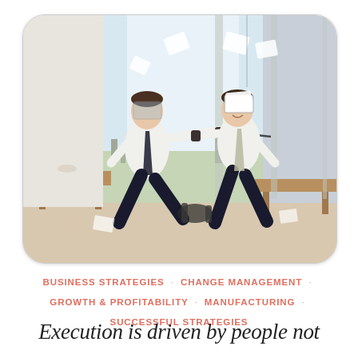[Figure (photo): Two businessmen in white shirts and ties sword-fighting with golf clubs in a modern office, with papers flying in the air. They are wearing protective face shields. Large windows show a city skyline in the background.]
BUSINESS STRATEGIES · CHANGE MANAGEMENT · GROWTH & PROFITABILITY · MANUFACTURING · SUCCESSFUL STRATEGIES
Execution is driven by people not